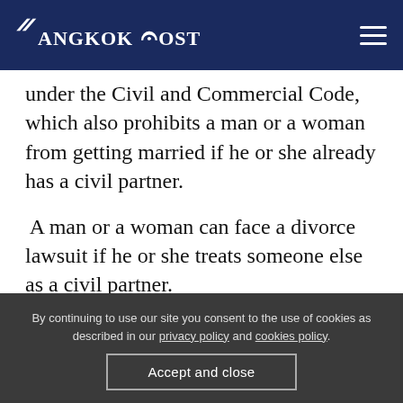Bangkok Post
under the Civil and Commercial Code, which also prohibits a man or a woman from getting married if he or she already has a civil partner.
A man or a woman can face a divorce lawsuit if he or she treats someone else as a civil partner.
By continuing to use our site you consent to the use of cookies as described in our privacy policy and cookies policy. Accept and close